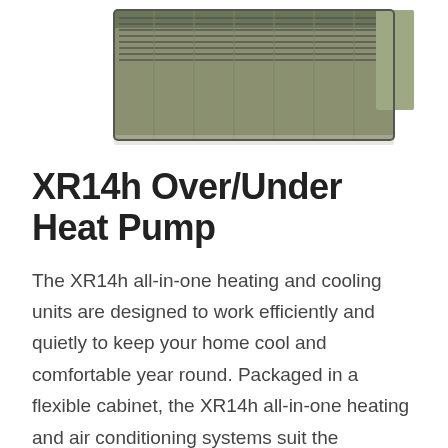[Figure (photo): Partial view of an XR14h Over/Under Heat Pump unit, showing the top and right side of the equipment with metal housing and fan grille visible against a white background.]
XR14h Over/Under Heat Pump
The XR14h all-in-one heating and cooling units are designed to work efficiently and quietly to keep your home cool and comfortable year round. Packaged in a flexible cabinet, the XR14h all-in-one heating and air conditioning systems suit the structural and spatial requirements of your home.